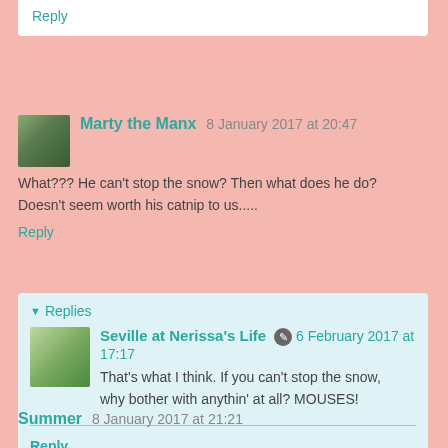Reply
Marty the Manx 8 January 2017 at 20:47
What??? He can't stop the snow? Then what does he do? Doesn't seem worth his catnip to us.....
Reply
Replies
Seville at Nerissa's Life 6 February 2017 at 17:17
That's what I think. If you can't stop the snow, why bother with anythin' at all? MOUSES!
Reply
Summer 8 January 2017 at 21:21